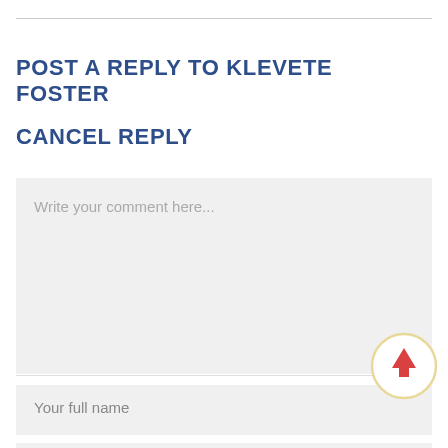POST A REPLY TO KLEVETE FOSTER
CANCEL REPLY
Write your comment here...
Your full name
E-mail address